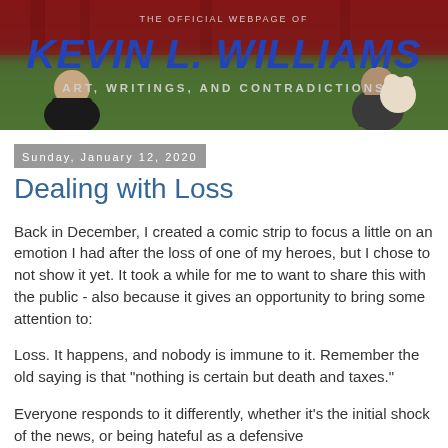[Figure (photo): Website banner for Kevin L. Williams showing two people seated on a green couch against a red curtain backdrop, with the text 'The Official Webpage of KEVIN L. WILLIAMS Art, Writings, and Contradictions']
Sunday, January 12, 2020
Dealing with Loss
Back in December, I created a comic strip to focus a little on an emotion I had after the loss of one of my heroes, but I chose to not show it yet.  It took a while for me to want to share this with the public - also because it gives an opportunity to bring some attention to:
Loss.  It happens, and nobody is immune to it.  Remember the old saying is that "nothing is certain but death and taxes."
Everyone responds to it differently, whether it's the initial shock of the news, or being hateful as a defensive